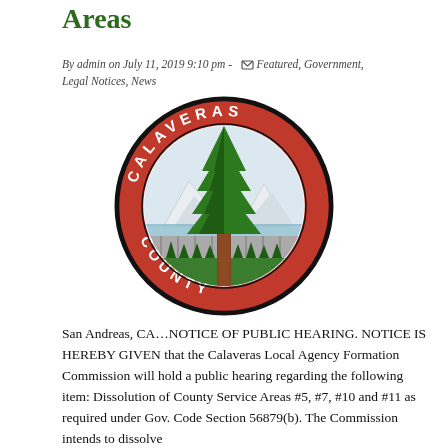Areas
By admin on July 11, 2019 9:10 pm -  Featured, Government, Legal Notices, News
[Figure (logo): Calaveras County seal: circular red badge with a large sequoia tree in center, snow-capped mountains and pine trees in background, green lower section, text 'CALAVERAS COUNTY' around the border in white on red ring.]
San Andreas, CA…NOTICE OF PUBLIC HEARING. NOTICE IS HEREBY GIVEN that the Calaveras Local Agency Formation Commission will hold a public hearing regarding the following item: Dissolution of County Service Areas #5, #7, #10 and #11 as required under Gov. Code Section 56879(b). The Commission intends to dissolve